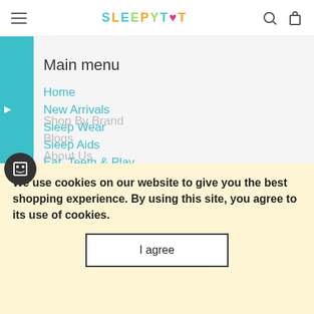SLEEPYTOT
Main menu
Home
New Arrivals
Sleep Wear
Sleep Aids
Eat, Teeth & Play
Health Products
Safety (Hats, Ears, Eyes)
For the Mums
Shop By Brand
Blogs
About Us
We use cookies on our website to give you the best shopping experience. By using this site, you agree to its use of cookies.
I agree